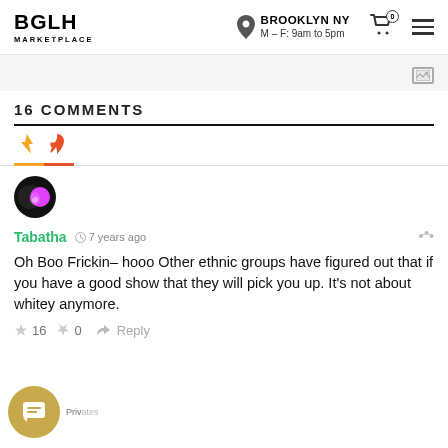BGLH MARKETPLACE — BROOKLYN NY M-F: 9am to 5pm
16 COMMENTS
Tabatha · 7 years ago — Oh Boo Frickin- hooo Other ethnic groups have figured out that if you have a good show that they will pick you up. It's not about whitey anymore.